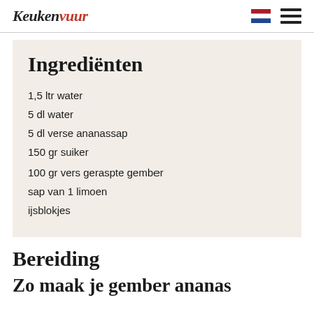Keukenvuur
Ingrediënten
1,5 ltr water
5 dl water
5 dl verse ananassap
150 gr suiker
100 gr vers geraspte gember
sap van 1 limoen
ijsblokjes
Bereiding
Zo maak je gember ananas